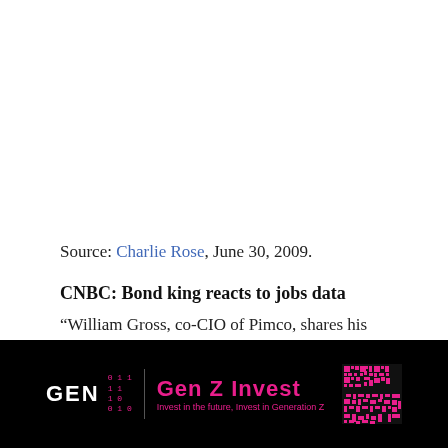Source: Charlie Rose, June 30, 2009.
CNBC: Bond king reacts to jobs data
“William Gross, co-CIO of Pimco, shares his reaction to Thursday’s jobs report.”
[Figure (other): Gen Z Invest advertisement banner with binary code logo and QR code on black background]